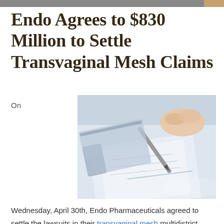Endo Agrees to $830 Million to Settle Transvaginal Mesh Claims
On
[Figure (photo): Close-up photo of a hand holding a pen signing a document on a desk, with a stapler visible in the background.]
Wednesday, April 30th, Endo Pharmaceuticals agreed to settle the lawsuits in their transvaginal mesh multidistrict litigation (MDL) for $830 million.